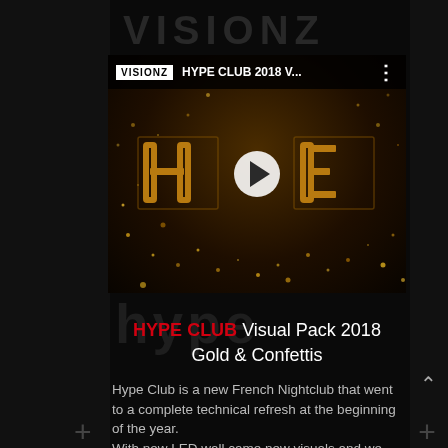[Figure (screenshot): VISIONZ YouTube-style video thumbnail showing HYPE CLUB 2018 Visual Pack video with gold and confetti background, play button, video title bar reading HYPE CLUB 2018 V... with VISIONZ logo]
HYPE CLUB Visual Pack 2018 Gold & Confettis
Hype Club is a new French Nightclub that went to a complete technical refresh at the beginning of the year.
With new LED wall came new visuals and we helped them to build up their new visual show with some nice looking and